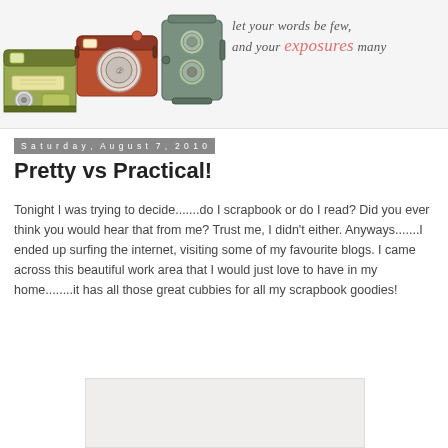[Figure (illustration): Blog header banner with three illustrated vintage cameras (olive green Polaroid, red/orange 35mm film camera, sage green twin-lens reflex camera) and tagline text: 'let your words be few, and your exposures many']
Saturday, August 7, 2010
Pretty vs Practical!
Tonight I was trying to decide.......do I scrapbook or do I read? Did you ever think you would hear that from me? Trust me, I didn't either. Anyways.......I ended up surfing the internet, visiting some of my favourite blogs. I came across this beautiful work area that I would just love to have in my home........it has all those great cubbies for all my scrapbook goodies!
[Figure (photo): Partially visible image at the bottom of the page, appears to be a workspace or storage area with cubbies]